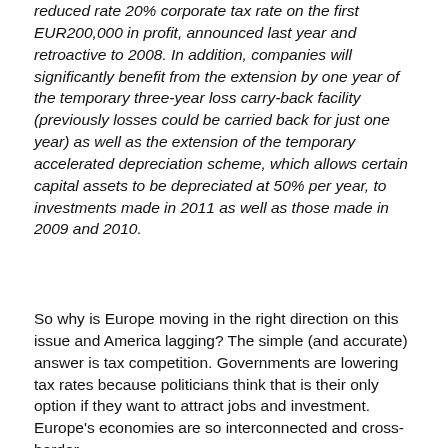reduced rate 20% corporate tax rate on the first EUR200,000 in profit, announced last year and retroactive to 2008. In addition, companies will significantly benefit from the extension by one year of the temporary three-year loss carry-back facility (previously losses could be carried back for just one year) as well as the extension of the temporary accelerated depreciation scheme, which allows certain capital assets to be depreciated at 50% per year, to investments made in 2011 as well as those made in 2009 and 2010.
So why is Europe moving in the right direction on this issue and America lagging? The simple (and accurate) answer is tax competition. Governments are lowering tax rates because politicians think that is their only option if they want to attract jobs and investment. Europe's economies are so interconnected and cross-border